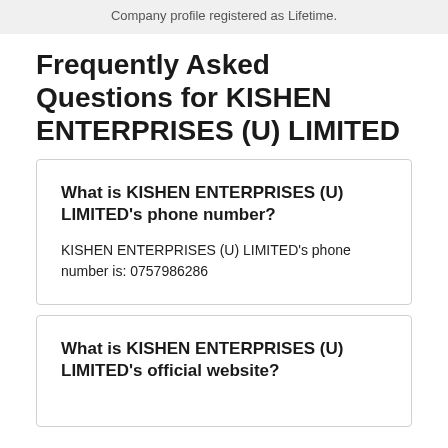Company profile registered as Lifetime.
Frequently Asked Questions for KISHEN ENTERPRISES (U) LIMITED
What is KISHEN ENTERPRISES (U) LIMITED's phone number?
KISHEN ENTERPRISES (U) LIMITED's phone number is: 0757986286
What is KISHEN ENTERPRISES (U) LIMITED's official website?